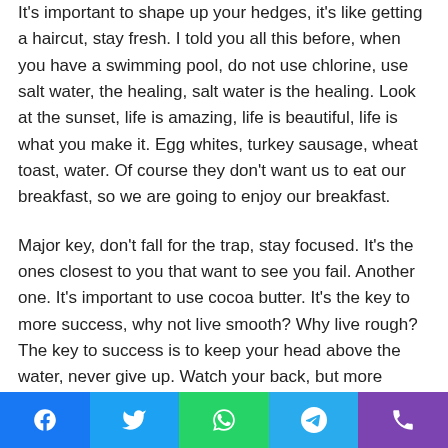It's important to shape up your hedges, it's like getting a haircut, stay fresh. I told you all this before, when you have a swimming pool, do not use chlorine, use salt water, the healing, salt water is the healing. Look at the sunset, life is amazing, life is beautiful, life is what you make it. Egg whites, turkey sausage, wheat toast, water. Of course they don't want us to eat our breakfast, so we are going to enjoy our breakfast.
Major key, don't fall for the trap, stay focused. It's the ones closest to you that want to see you fail. Another one. It's important to use cocoa butter. It's the key to more success, why not live smooth? Why live rough? The key to success is to keep your head above the water, never give up. Watch your back, but more importantly when you get out the shower, dry your back, it's a cold world out there.
Social share bar with Facebook, Twitter, WhatsApp, Telegram, Phone icons